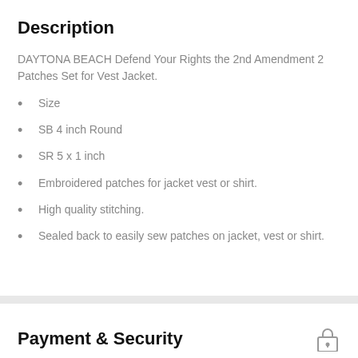Description
DAYTONA BEACH Defend Your Rights the 2nd Amendment 2 Patches Set for Vest Jacket.
Size
SB 4 inch Round
SR 5 x 1 inch
Embroidered patches for jacket vest or shirt.
High quality stitching.
Sealed back to easily sew patches on jacket, vest or shirt.
Payment & Security